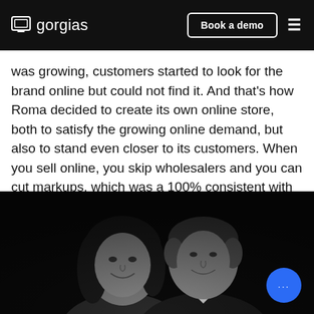gorgias | Book a demo
was growing, customers started to look for the brand online but could not find it. And that's how Roma decided to create its own online store, both to satisfy the growing online demand, but also to stand even closer to its customers. When you sell online, you skip wholesalers and you can cut markups, which was a 100% consistent with Roma's vision.
[Figure (photo): Black and white portrait photo of a woman and a man, smiling, against a dark background. A blue chat button with three dots is visible in the bottom right corner.]